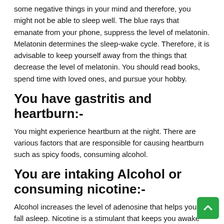some negative things in your mind and therefore, you might not be able to sleep well. The blue rays that emanate from your phone, suppress the level of melatonin. Melatonin determines the sleep-wake cycle. Therefore, it is advisable to keep yourself away from the things that decrease the level of melatonin. You should read books, spend time with loved ones, and pursue your hobby.
You have gastritis and heartburn:-
You might experience heartburn at the night. There are various factors that are responsible for causing heartburn such as spicy foods, consuming alcohol.
You are intaking Alcohol or consuming nicotine:-
Alcohol increases the level of adenosine that helps you to fall asleep. Nicotine is a stimulant that keeps you awake the whole night. Insomnia has become a very serious issue, therefore all you need is to tackle this problem. Sleeping pills online like Zopiclone 7.5mg plays an important role in eradicating sleep.